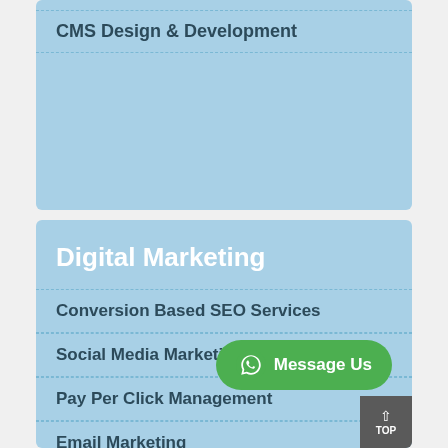CMS Design & Development
Digital Marketing
Conversion Based SEO Services
Social Media Marketing
Pay Per Click Management
Email Marketing
Digital Marketing Con...
Online Advertising